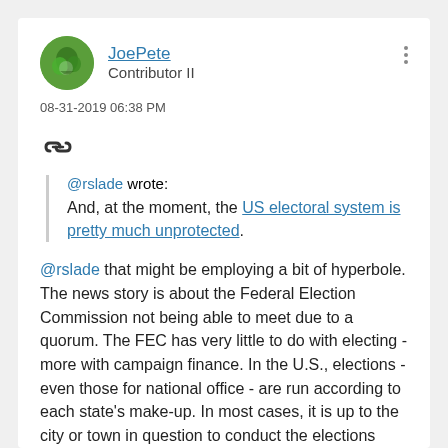[Figure (other): User avatar: circular green profile photo of JoePete]
JoePete
Contributor II
08-31-2019 06:38 PM
[Figure (other): Link/chain icon]
@rslade wrote:
And, at the moment, the US electoral system is pretty much unprotected.
@rslade that might be employing a bit of hyperbole. The news story is about the Federal Election Commission not being able to meet due to a quorum. The FEC has very little to do with electing - more with campaign finance. In the U.S., elections - even those for national office - are run according to each state's make-up. In most cases, it is up to the city or town in question to conduct the elections however it wants. They determine the official count which then gets